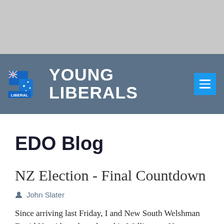[Figure (logo): Young Liberals logo with Australian flag motif and white text reading YOUNG LIBERALS on a steel blue navigation bar]
EDO Blog
NZ Election - Final Countdown
John Slater
Since arriving last Friday, I and New South Welshman David Nouri have been based in Wellington; New Zealand's capital. Wellington and Canberra have a lot in common. Apart from the icy winds and